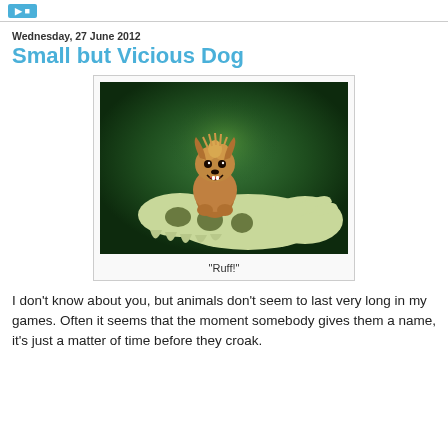Wednesday, 27 June 2012
Small but Vicious Dog
[Figure (illustration): Digital illustration of a small fluffy brown dog with a menacing grin, standing on top of a large pale creature skull/claw on a green background.]
"Ruff!"
I don't know about you, but animals don't seem to last very long in my games. Often it seems that the moment somebody gives them a name, it's just a matter of time before they croak.